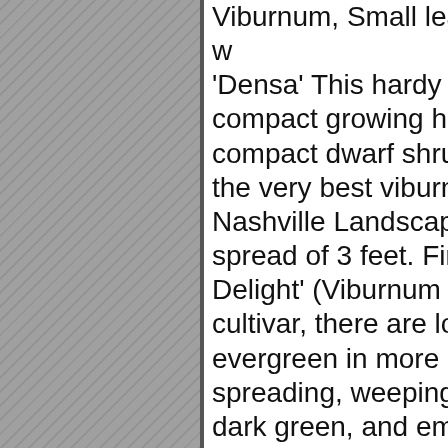[Figure (photo): Gray panel on the left side of the page with a diagonal hatching texture pattern, representing an image placeholder or sidebar graphic.]
Viburnum, Small leaf Arrowwood 'Densa' This hardy plant is good compact growing habit, only compact dwarf shrub. Dwar the very best viburnum for u Nashville Landscaping Idea spread of 3 feet. First of all Delight' (Viburnum tridentat cultivar, there are lots of dw evergreen in more mild clim spreading, weeping, or dwa dark green, and emit an app well-drained soil. The name South Carolina, who descri Very easy maintenance and cultivars available in the nu there are forms of this plant Odratissimum, Suspensum. Walter's Viburnum. Walter's small tree or as a shrub. – V cranberry bush ( Viburnum Common Name: Dwarf Wal Full sun to partial shade Blo compact, dense mounds of Select, grows more mound Small leaf Arrowwood 'Ms.